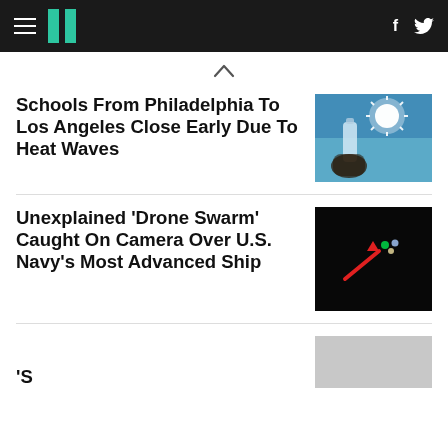HuffPost navigation header with hamburger menu, logo, Facebook and Twitter icons
Schools From Philadelphia To Los Angeles Close Early Due To Heat Waves
[Figure (photo): Person drinking water from a bottle against a bright sun in the sky]
Unexplained 'Drone Swarm' Caught On Camera Over U.S. Navy's Most Advanced Ship
[Figure (photo): Dark image showing lights in the sky with a red arrow pointing to them]
Partially visible headline beginning with 'S'